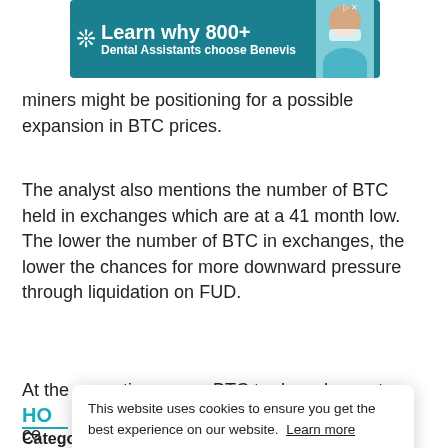[Figure (other): Advertisement banner: teal background with snowflake icon, text 'Learn why 800+ Dental Assistants choose Benevis', image of woman in dental mask, with ad label and close button]
miners might be positioning for a possible expansion in BTC prices.
The analyst also mentions the number of BTC held in exchanges which are at a 41 month low. The lower the number of BTC in exchanges, the lower the chances for more downward pressure through liquidation on FUD.
At the same time, more BTC traders choose to
HO
ce
Categories: Crypto News
This website uses cookies to ensure you get the best experience on our website.  Learn more
GOT IT!